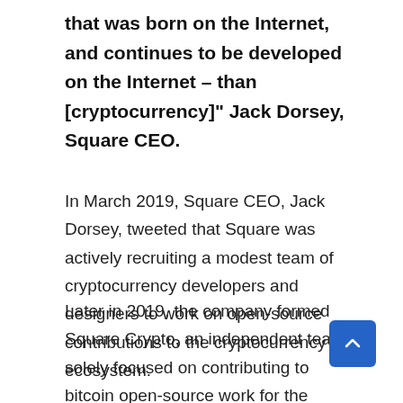that was born on the Internet, and continues to be developed on the Internet – than [cryptocurrency]" Jack Dorsey, Square CEO.
In March 2019, Square CEO, Jack Dorsey, tweeted that Square was actively recruiting a modest team of cryptocurrency developers and designers to work on open-source contributions to the cryptocurrency ecosystem.
Later in 2019, the company formed Square Crypto, an independent team solely focused on contributing to bitcoin open-source work for the benefit of all, and also recently launched the Cryptocurrency Open Patent Alliance (COPA), a non-profit organization